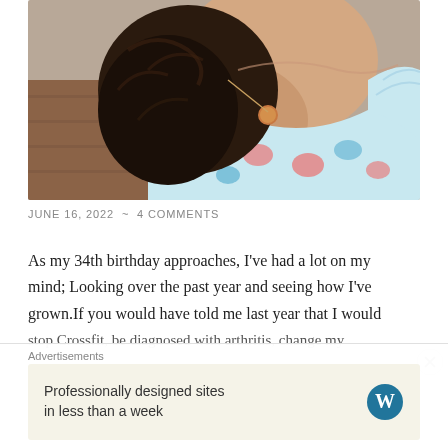[Figure (photo): Close-up selfie photo of a woman with dark curly hair looking down, wearing a light blue floral dress with pink and blue flowers, wearing a round pendant necklace, wood floor visible in background]
JUNE 16, 2022  ~  4 COMMENTS
As my 34th birthday approaches, I've had a lot on my mind; Looking over the past year and seeing how I've grown.If you would have told me last year that I would stop Crossfit, be diagnosed with arthritis, change my
Advertisements
Professionally designed sites in less than a week